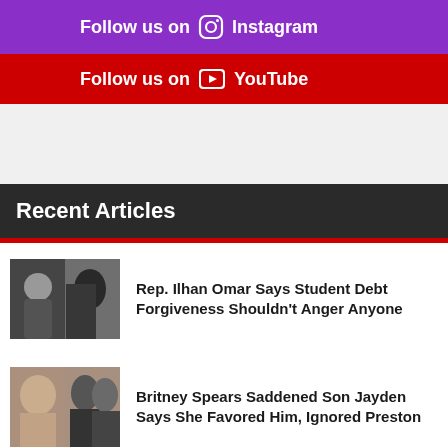Follow us on Instagram
Follow us on YouTube
Recent Articles
Rep. Ilhan Omar Says Student Debt Forgiveness Shouldn’t Anger Anyone
Britney Spears Saddened Son Jayden Says She Favored Him, Ignored Preston
April O’Neil in ‘TMNT II: The Secret of the Ooze’ ‘Memba Her?!